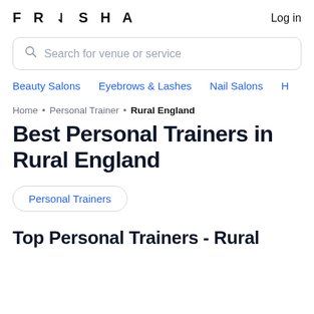FRESHA
Log in
Search for venue or service
Beauty Salons
Eyebrows & Lashes
Nail Salons
H…
Home · Personal Trainer · Rural England
Best Personal Trainers in Rural England
Personal Trainers
Top Personal Trainers - Rural